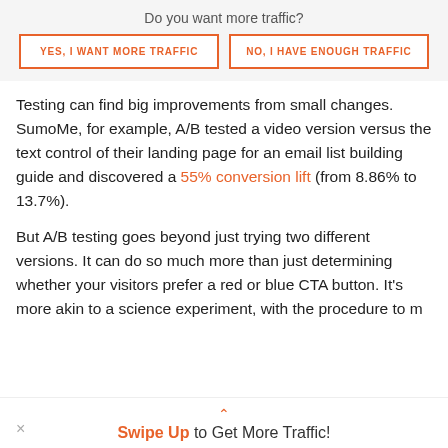Do you want more traffic?
[Figure (other): Two CTA buttons side by side: 'YES, I WANT MORE TRAFFIC' and 'NO, I HAVE ENOUGH TRAFFIC' with orange border and text on white background]
Testing can find big improvements from small changes. SumoMe, for example, A/B tested a video version versus the text control of their landing page for an email list building guide and discovered a 55% conversion lift (from 8.86% to 13.7%).
But A/B testing goes beyond just trying two different versions. It can do so much more than just determining whether your visitors prefer a red or blue CTA button. It's more akin to a science experiment, with the procedure to m...
Swipe Up to Get More Traffic!